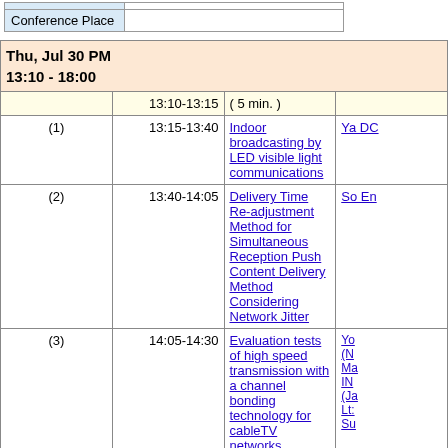|  |  |
| --- | --- |
| Conference Place |  |
| Thu, Jul 30 PM 13:10 - 18:00 |  |  |  |
| --- | --- | --- | --- |
|  | 13:10-13:15 | ( 5 min. ) |  |
| (1) | 13:15-13:40 | Indoor broadcasting by LED visible light communications | Ya DC |
| (2) | 13:40-14:05 | Delivery Time Re-adjustment Method for Simultaneous Reception Push Content Delivery Method Considering Network Jitter | So En |
| (3) | 14:05-14:30 | Evaluation tests of high speed transmission with a channel bonding technology for cableTV networks | Yo (N Ma IN (Ja Lt Su |
|  | 14:30-14:40 | Break ( 10 min. ) |  |
| (4) | 14:40-15:05 | Development of Scramble System for 8K Super Hi-Vision | Ch Ue |
| (5) | 15:05-15:30 | Study of performance of small broadband... |  |